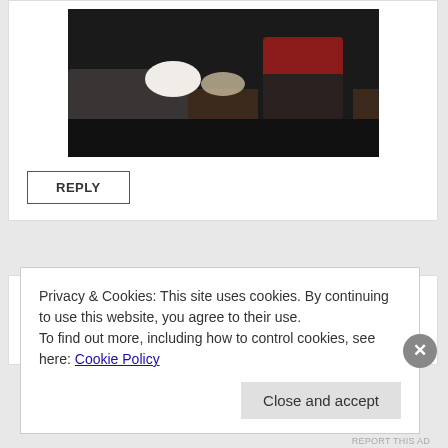[Figure (photo): Cropped photo showing two people seated on the floor, one person extending a foot/hand toward the other, dark/dramatic lighting]
REPLY
[Figure (screenshot): Partial second comment card with a colored avatar/username placeholder]
Privacy & Cookies: This site uses cookies. By continuing to use this website, you agree to their use.
To find out more, including how to control cookies, see here: Cookie Policy
Close and accept
REPORT THIS AD